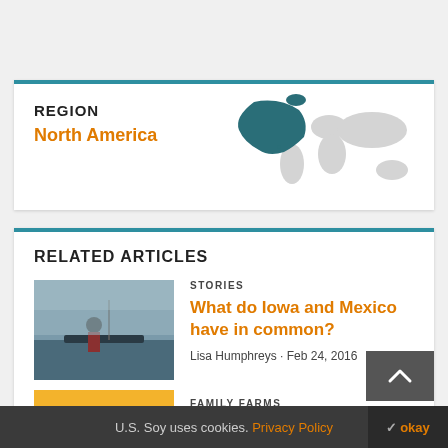REGION
North America
[Figure (map): World map with North America highlighted in teal/dark green, rest of world in light gray]
RELATED ARTICLES
[Figure (photo): Person fishing or working on a boat in overcast conditions]
STORIES
What do Iowa and Mexico have in common?
Lisa Humphreys · Feb 24, 2016
[Figure (photo): Farm scene with warm orange/yellow sunset sky]
FAMILY FARMS
U.S. Soy uses cookies. Privacy Policy  okay